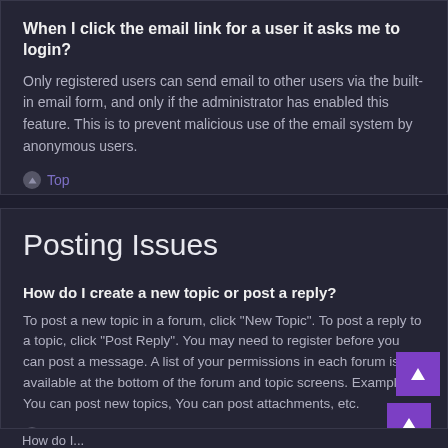When I click the email link for a user it asks me to login?
Only registered users can send email to other users via the built-in email form, and only if the administrator has enabled this feature. This is to prevent malicious use of the email system by anonymous users.
Top
Posting Issues
How do I create a new topic or post a reply?
To post a new topic in a forum, click "New Topic". To post a reply to a topic, click "Post Reply". You may need to register before you can post a message. A list of your permissions in each forum is available at the bottom of the forum and topic screens. Example: You can post new topics, You can post attachments, etc.
Top